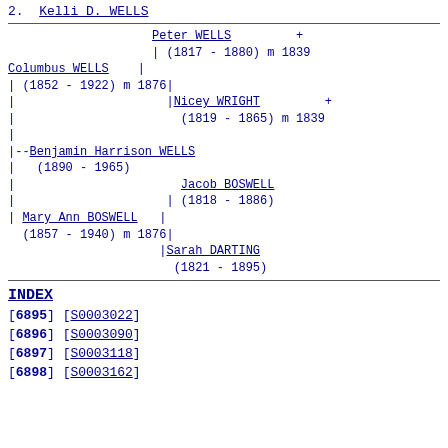2.  Kelli D. WELLS
Genealogy tree showing Benjamin Harrison WELLS (1890-1965) with parents Columbus WELLS (1852-1922) m 1876 and Mary Ann BOSWELL (1857-1940) m 1876; paternal grandparents Peter WELLS (1817-1880) m 1839 and Nicey WRIGHT (1819-1865) m 1839; maternal grandparents Jacob BOSWELL (1818-1886) and Sarah DARTING (1821-1895)
INDEX
[6895] [S0003022]
[6896] [S0003090]
[6897] [S0003118]
[6898] [S0003162]